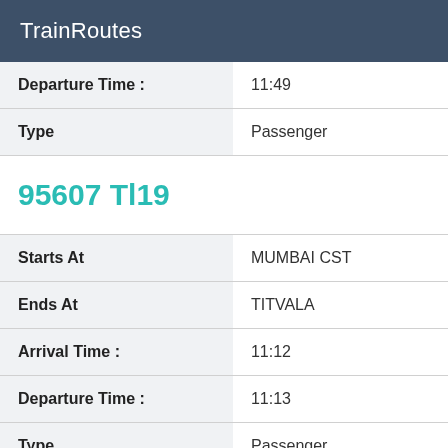TrainRoutes
| Departure Time : | 11:49 |
| Type | Passenger |
| 95607 Tl19 |  |
| Starts At | MUMBAI CST |
| Ends At | TITVALA |
| Arrival Time : | 11:12 |
| Departure Time : | 11:13 |
| Type | Passenger |
| 95608 Tl38 |  |